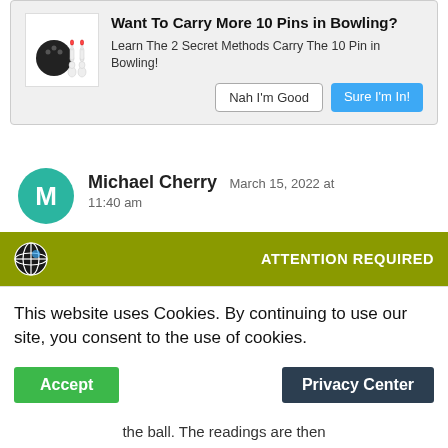[Figure (infographic): Ad banner with bowling ball and pins icon. Title: Want To Carry More 10 Pins in Bowling? Subtitle: Learn The 2 Secret Methods Carry The 10 Pin in Bowling! Buttons: Nah I'm Good, Sure I'm In!]
Michael Cherry  March 15, 2022 at 11:40 am
The test procedure document is online. You can purchase the exact same durometer and repeat the test
[Figure (infographic): Cookie consent banner. Header: globe icon + ATTENTION REQUIRED on olive/yellow background. Body: This website uses Cookies. By continuing to use our site, you consent to the use of cookies. Buttons: Accept (green), Privacy Center (dark)]
the ball. The readings are then